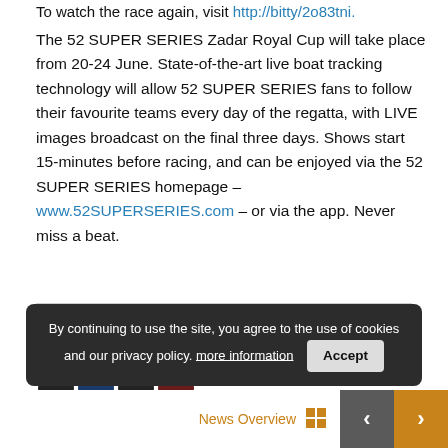To watch the race again, visit http://bitly/2o83tni.
The 52 SUPER SERIES Zadar Royal Cup will take place from 20-24 June. State-of-the-art live boat tracking technology will allow 52 SUPER SERIES fans to follow their favourite teams every day of the regatta, with LIVE images broadcast on the final three days. Shows start 15-minutes before racing, and can be enjoyed via the 52 SUPER SERIES homepage – www.52SUPERSERIES.com – or via the app. Never miss a beat.
Share this article:
By continuing to use the site, you agree to the use of cookies and our privacy policy. more information  Accept
News Overview